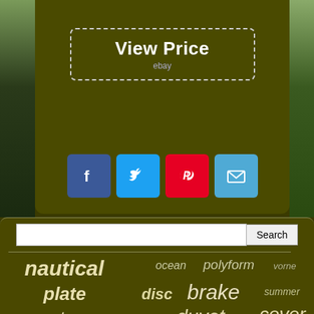[Figure (screenshot): View Price eBay button with dashed border and social sharing icons (Facebook, Twitter, Pinterest, Email) on dark olive green background]
[Figure (infographic): Tag cloud with words: nautical, ocean, polyform, vorne, plate, disc, brake, summer, roostery, duvet, cover, discs, anchors, bremsscheibe, rear. Search bar with Search button above.]